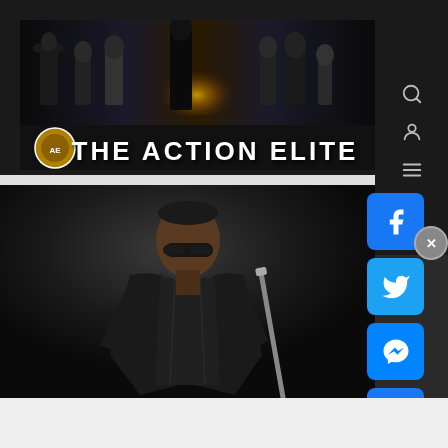[Figure (screenshot): The Action Elite website header banner showing action movie characters silhouetted against a dramatic background with golden glow, and the site title THE ACTION ELITE in bold white text]
[Figure (photo): Hero image of Blade character (Wesley Snipes) in black leather jacket and sunglasses holding a weapon, against a dark background]
[Figure (logo): Infolinks advertisement banner at the bottom of the hero image area]
[Figure (screenshot): Social media buttons panel on the right: Facebook, Twitter, Messenger, and a plus/share button, all in blue tones]